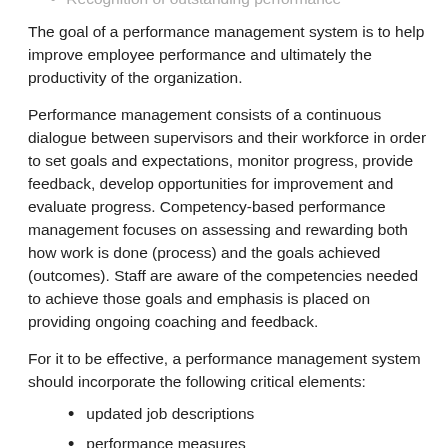Recognition of outstanding performance
The goal of a performance management system is to help improve employee performance and ultimately the productivity of the organization.
Performance management consists of a continuous dialogue between supervisors and their workforce in order to set goals and expectations, monitor progress, provide feedback, develop opportunities for improvement and evaluate progress. Competency-based performance management focuses on assessing and rewarding both how work is done (process) and the goals achieved (outcomes). Staff are aware of the competencies needed to achieve those goals and emphasis is placed on providing ongoing coaching and feedback.
For it to be effective, a performance management system should incorporate the following critical elements:
updated job descriptions
performance measures
workplace standards